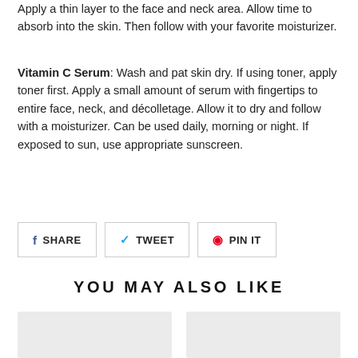Apply a thin layer to the face and neck area. Allow time to absorb into the skin. Then follow with your favorite moisturizer.
Vitamin C Serum: Wash and pat skin dry. If using toner, apply toner first. Apply a small amount of serum with fingertips to entire face, neck, and décolletage. Allow it to dry and follow with a moisturizer. Can be used daily, morning or night. If exposed to sun, use appropriate sunscreen.
[Figure (other): Social share buttons: SHARE (Facebook), TWEET (Twitter), PIN IT (Pinterest)]
YOU MAY ALSO LIKE
[Figure (photo): Two product thumbnail placeholder images side by side]